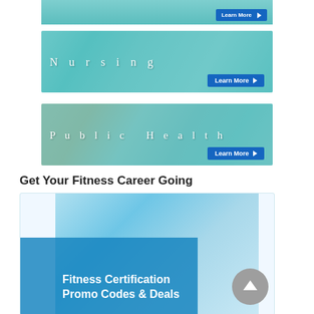[Figure (photo): Top partial banner with teal overlay and Learn More button]
[Figure (photo): Nursing banner with healthcare professional in teal scrubs, teal overlay, white spaced text 'Nursing', and blue Learn More button]
[Figure (photo): Public Health banner with medical professional, teal overlay, white spaced text 'Public Health', and blue Learn More button]
Get Your Fitness Career Going
[Figure (photo): Fitness Certification Promo Codes & Deals promotional banner with blue overlay, white bold text, and grey circular arrow button]